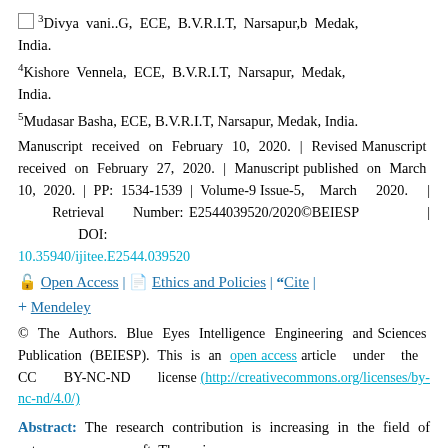3Divya vani..G, ECE, B.V.R.I.T, Narsapur,b Medak, India.
4Kishore Vennela, ECE, B.V.R.I.T, Narsapur, Medak, India.
5Mudasar Basha, ECE, B.V.R.I.T, Narsapur, Medak, India.
Manuscript received on February 10, 2020. | Revised Manuscript received on February 27, 2020. | Manuscript published on March 10, 2020. | PP: 1534-1539 | Volume-9 Issue-5, March 2020. | Retrieval Number: E2544039520/2020©BEIESP | DOI: 10.35940/ijitee.E2544.039520
Open Access | Ethics and Policies | Cite | Mendeley
© The Authors. Blue Eyes Intelligence Engineering and Sciences Publication (BEIESP). This is an open access article under the CC BY-NC-ND license (http://creativecommons.org/licenses/by-nc-nd/4.0/)
Abstract: The research contribution is increasing in the field of autonomous spacecraft. The major